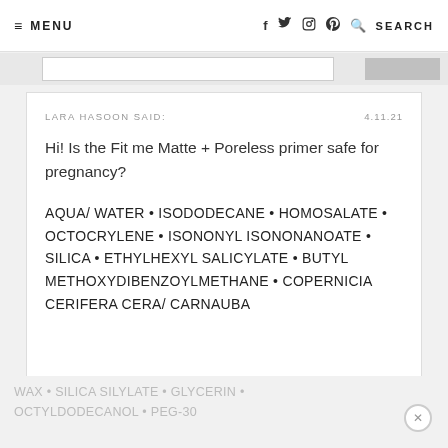≡ MENU   f  twitter  instagram  pinterest  🔍 SEARCH
LARA HASOON SAID:   4.11.21
Hi! Is the Fit me Matte + Poreless primer safe for pregnancy?
AQUA/ WATER • ISODODECANE • HOMOSALATE • OCTOCRYLENE • ISONONYL ISONONANOATE • SILICA • ETHYLHEXYL SALICYLATE • BUTYL METHOXYDIBENZOYLMETHANE • COPERNICIA CERIFERA CERA/ CARNAUBA WAX • SILICA SILYLATE • GLYCERIN • OCTYLDODECANOL • PEG-30